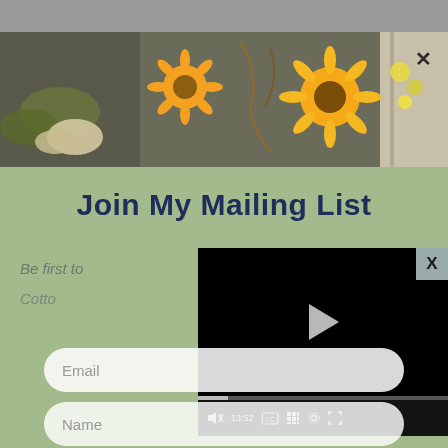[Figure (photo): Decorative sunflower and autumn floral arrangement banner photo at the top of the page]
Join My Mailing List
Be first to
Cotto
[Figure (screenshot): Embedded video player overlay showing a black screen with a play button triangle, a progress bar, and controls: mute, 13:52 timestamp, CC, grid, settings, and fullscreen icons]
Email
Name